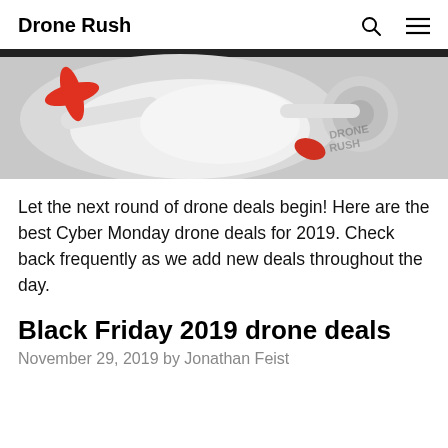Drone Rush
[Figure (photo): Close-up photograph of a white and red drone with visible propellers and controller, partially cropped, with 'DRONE RUSH' watermark visible on the right side.]
Let the next round of drone deals begin! Here are the best Cyber Monday drone deals for 2019. Check back frequently as we add new deals throughout the day.
Black Friday 2019 drone deals
November 29, 2019 by Jonathan Feist